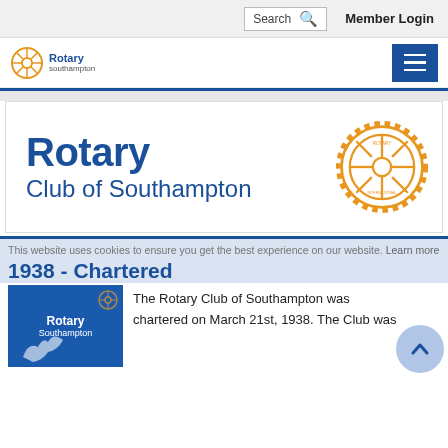Search  Member Login
[Figure (logo): Rotary Southampton small logo top left, hamburger menu button top right]
[Figure (logo): Large Rotary Club of Southampton banner with Rotary International gear logo in gold/amber]
This website uses cookies to ensure you get the best experience on our website. Learn more
1938 - Chartered
[Figure (illustration): Blue card with Rotary Southampton logo and a white outline map/bird illustration]
The Rotary Club of Southampton was chartered on March 21st, 1938. The Club was